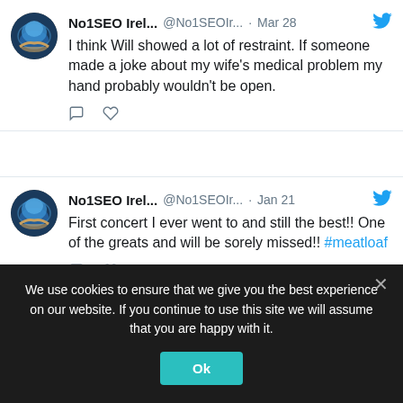No1SEO Irel... @No1SEOIr... · Mar 28 — I think Will showed a lot of restraint. If someone made a joke about my wife's medical problem my hand probably wouldn't be open.
No1SEO Irel... @No1SEOIr... · Jan 21 — First concert I ever went to and still the best!! One of the greats and will be sorely missed!! #meatloaf
No1SEO Ir... @No1S... · Dec 21, 2021
We use cookies to ensure that we give you the best experience on our website. If you continue to use this site we will assume that you are happy with it.